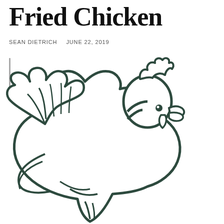Fried Chicken
SEAN DIETRICH    JUNE 22, 2019
[Figure (illustration): Black and white line drawing of a chicken (hen) with wings spread, facing right, showing detailed feather outlines, comb, beak, and eye. The illustration is a simple two-color (black outline on white) style drawing.]